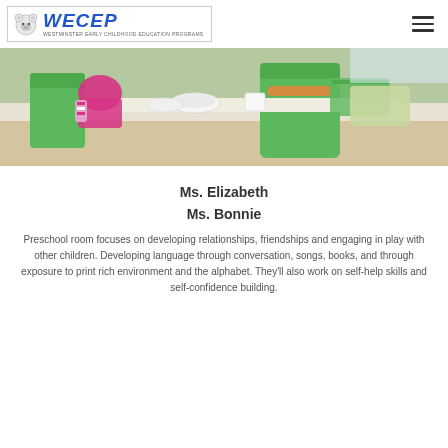WECEP - Westminster Early Childhood Education Programs
[Figure (photo): Photo of young children sitting at green tables in a classroom, eating or doing activities. Bright green furniture visible.]
Ms. Elizabeth
Ms. Bonnie
Preschool room focuses on developing relationships, friendships and engaging in play with other children. Developing language through conversation, songs, books, and through exposure to print rich environment and the alphabet. They'll also work on self-help skills and self-confidence building.